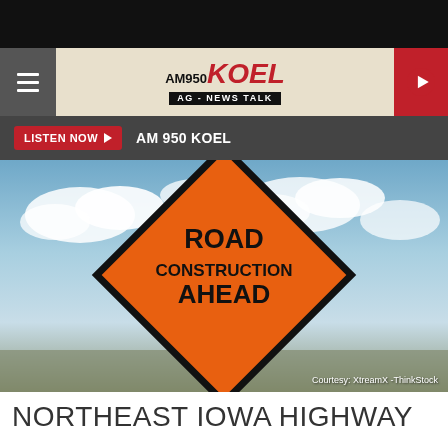AM 950 KOEL - AG - NEWS TALK
LISTEN NOW ▶  AM 950 KOEL
[Figure (photo): Road Construction Ahead orange diamond warning sign against a partly cloudy blue sky background. Credit: Courtesy: XtreamX -ThinkStock]
Courtesy: XtreamX -ThinkStock
NORTHEAST IOWA HIGHWAY